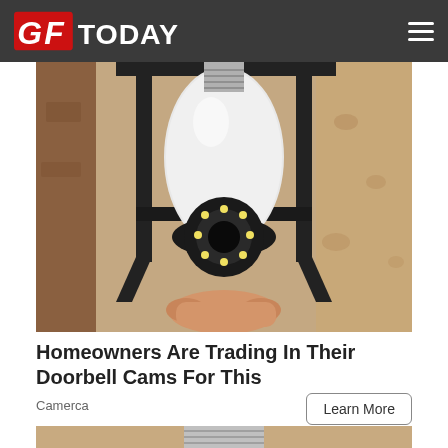GF TODAY
[Figure (photo): A person installing a white security camera bulb into a black outdoor light fixture mounted on a stucco wall. The bulb-shaped camera has LEDs around the lens.]
Homeowners Are Trading In Their Doorbell Cams For This
Camerca
Learn More
[Figure (photo): Bottom portion of a white light bulb with metallic screw base against a warm beige/tan background.]